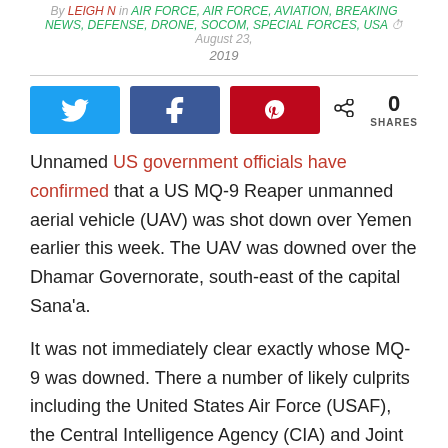By LEIGH N  in AIR FORCE, AIR FORCE, AVIATION, BREAKING NEWS, DEFENSE, DRONE, SOCOM, SPECIAL FORCES, USA  August 23, 2019
Unnamed US government officials have confirmed that a US MQ-9 Reaper unmanned aerial vehicle (UAV) was shot down over Yemen earlier this week. The UAV was downed over the Dhamar Governorate, south-east of the capital Sana'a.
It was not immediately clear exactly whose MQ-9 was downed. There a number of likely culprits including the United States Air Force (USAF), the Central Intelligence Agency (CIA) and Joint Special Operations Command (JSOC)